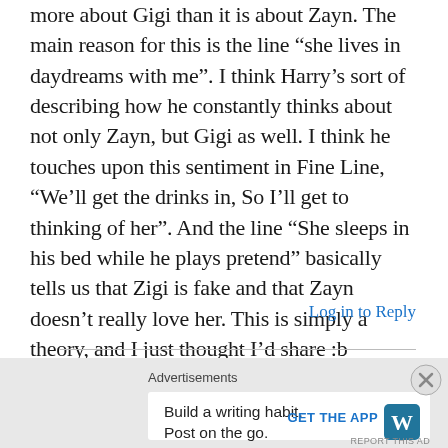more about Gigi than it is about Zayn. The main reason for this is the line “she lives in daydreams with me”. I think Harry’s sort of describing how he constantly thinks about not only Zayn, but Gigi as well. I think he touches upon this sentiment in Fine Line, “We’ll get the drinks in, So I’ll get to thinking of her”. And the line “She sleeps in his bed while he plays pretend” basically tells us that Zigi is fake and that Zayn doesn’t really love her. This is simply a theory, and I just thought I’d share :b
Log in to Reply
Advertisements
Build a writing habit. Post on the go.
GET THE APP